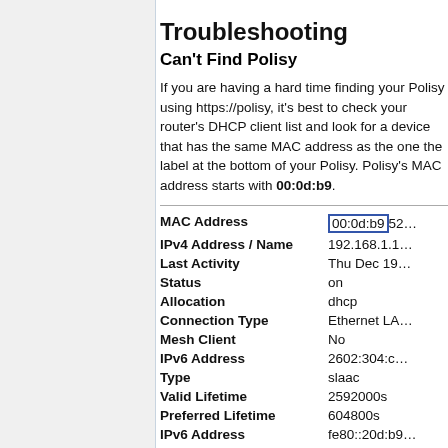Troubleshooting
Can't Find Polisy
If you are having a hard time finding your Polisy using https://polisy, it's best to check your router's DHCP client list and look for a device that has the same MAC address as the one the label at the bottom of your Polisy. Polisy's MAC address starts with 00:0d:b9.
| Field | Value |
| --- | --- |
| MAC Address | 00:0d:b9:52… |
| IPv4 Address / Name | 192.168.1.1… |
| Last Activity | Thu Dec 19… |
| Status | on |
| Allocation | dhcp |
| Connection Type | Ethernet LA… |
| Mesh Client | No |
| IPv6 Address | 2602:304:c… |
| Type | slaac |
| Valid Lifetime | 2592000s |
| Preferred Lifetime | 604800s |
| IPv6 Address | fe80::20d:b9… |